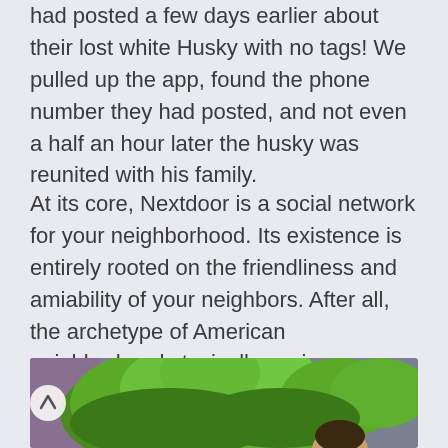had posted a few days earlier about their lost white Husky with no tags! We pulled up the app, found the phone number they had posted, and not even a half an hour later the husky was reunited with his family.
At its core, Nextdoor is a social network for your neighborhood. Its existence is entirely rooted on the friendliness and amiability of your neighbors. After all, the archetype of American neighborhoods typically conjures images of a friendly wave and borrowing cups of sugar from the family next door.
[Figure (photo): Outdoor photo showing green bushes/trees with a person partially visible at bottom right, and a navigation arrow button on the left side]